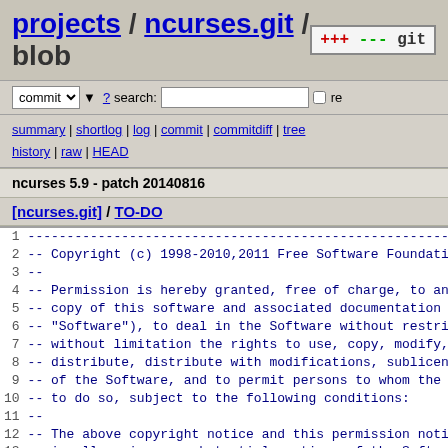projects / ncurses.git / blob
commit ? search: re
summary | shortlog | log | commit | commitdiff | tree history | raw | HEAD
ncurses 5.9 - patch 20140816
[ncurses.git] / TO-DO
1 ------------------------------------------------------------------
2 -- Copyright (c) 1998-2010,2011 Free Software Foundatio
3 --
4 -- Permission is hereby granted, free of charge, to any
5 -- copy of this software and associated documentation f
6 -- "Software"), to deal in the Software without restric
7 -- without limitation the rights to use, copy, modify,
8 -- distribute, distribute with modifications, sublicens
9 -- of the Software, and to permit persons to whom the S
10 -- to do so, subject to the following conditions:
11 --
12 -- The above copyright notice and this permission notic
13 -- in all copies or substantial portions of the Softwar
14 --
15 -- THE SOFTWARE IS PROVIDED "AS IS", WITHOUT WARRANTY O
16 -- OR IMPLIED, INCLUDING BUT NOT LIMITED TO THE WARRANT
17 -- MERCHANTABILITY, FITNESS FOR A PARTICULAR PURPOSE AN
18 -- NO EVENT SHALL THE ABOVE COPYRIGHT HOLDERS BE LIABLE
19 -- DAMAGES OR OTHER LIABILITY, WHETHER IN AN ACTION OF